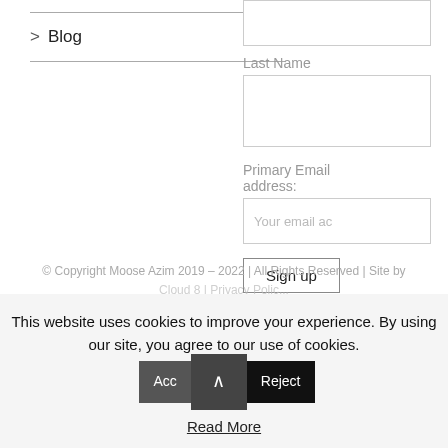> Blog
Last Name
Primary Email address:
Your email ac
Sign up
© Copyright Moose Azim 2019 – 2022 | All Rights Reserved | Site by Cloud 8 | Privacy Polic...
This website uses cookies to improve your experience. By using our site, you agree to our use of cookies.
Read More